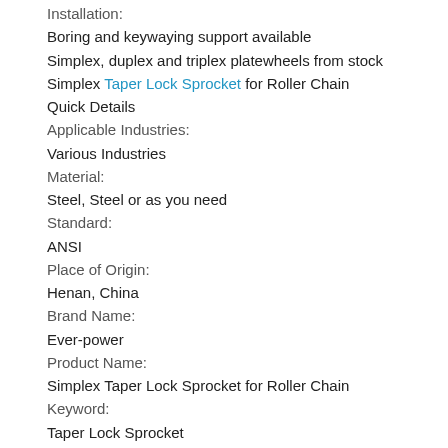Installation:
Boring and keywaying support available
Simplex, duplex and triplex platewheels from stock
Simplex Taper Lock Sprocket for Roller Chain
Quick Details
Applicable Industries:
Various Industries
Material:
Steel, Steel or as you need
Standard:
ANSI
Place of Origin:
Henan, China
Brand Name:
Ever-power
Product Name:
Simplex Taper Lock Sprocket for Roller Chain
Keyword:
Taper Lock Sprocket
Brand: